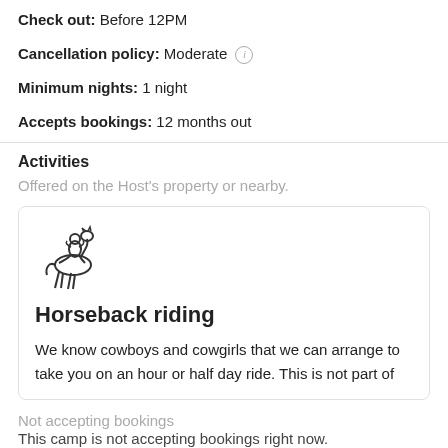Check out: Before 12PM
Cancellation policy: Moderate
Minimum nights: 1 night
Accepts bookings: 12 months out
Activities
Offered on the Host's property or nearby.
[Figure (illustration): Icon of a person riding a horse]
Horseback riding
We know cowboys and cowgirls that we can arrange to take you on an hour or half day ride. This is not part of
Not accepting bookings
This camp is not accepting bookings right now.